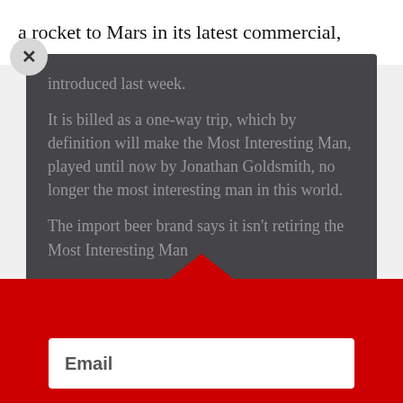a rocket to Mars in its latest commercial,
introduced last week.
It is billed as a one-way trip, which by definition will make the Most Interesting Man, played until now by Jonathan Goldsmith, no longer the most interesting man in this world.
The import beer brand says it isn't retiring the Most Interesting Man
Stay up to date on business happenings in the Upper Valley and beyond with the Enterprise newsletter. Delivered to your inbox once per week!
His only replacement will be Will Lyman, who's also the voice of Frontline.
on PBS — not to Will, which just feels like*
Email